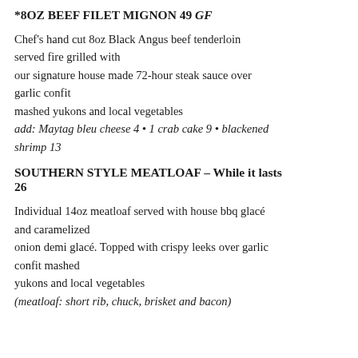*8OZ BEEF FILET MIGNON 49 GF
Chef's hand cut 8oz Black Angus beef tenderloin served fire grilled with our signature house made 72-hour steak sauce over garlic confit mashed yukons and local vegetables add: Maytag bleu cheese 4 • 1 crab cake 9 • blackened shrimp 13
SOUTHERN STYLE MEATLOAF – While it lasts 26
Individual 14oz meatloaf served with house bbq glacé and caramelized onion demi glacé. Topped with crispy leeks over garlic confit mashed yukons and local vegetables (meatloaf: short rib, chuck, brisket and bacon)